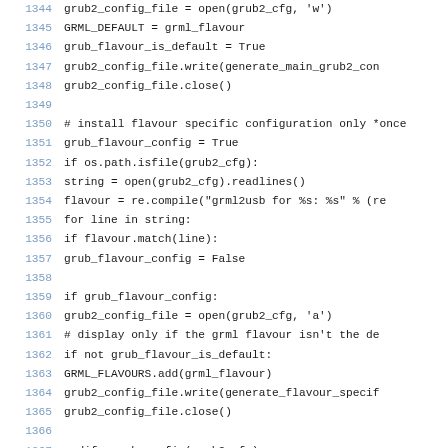[Figure (screenshot): Source code listing showing Python code lines 1344-1370, with line numbers in blue on the left and code text in monospace on the right. The code involves grub2 configuration file operations, flavour config checks, and grub2 modification.]